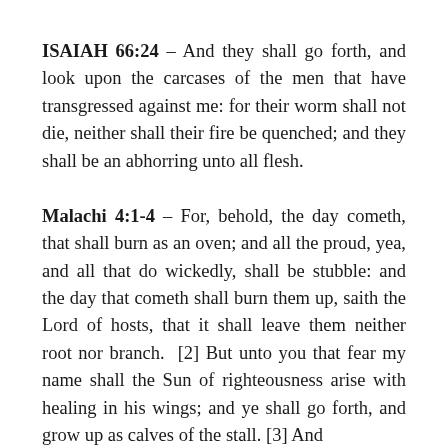ISAIAH 66:24 – And they shall go forth, and look upon the carcases of the men that have transgressed against me: for their worm shall not die, neither shall their fire be quenched; and they shall be an abhorring unto all flesh.
Malachi 4:1-4 – For, behold, the day cometh, that shall burn as an oven; and all the proud, yea, and all that do wickedly, shall be stubble: and the day that cometh shall burn them up, saith the Lord of hosts, that it shall leave them neither root nor branch. [2] But unto you that fear my name shall the Sun of righteousness arise with healing in his wings; and ye shall go forth, and grow up as calves of the stall. [3] And